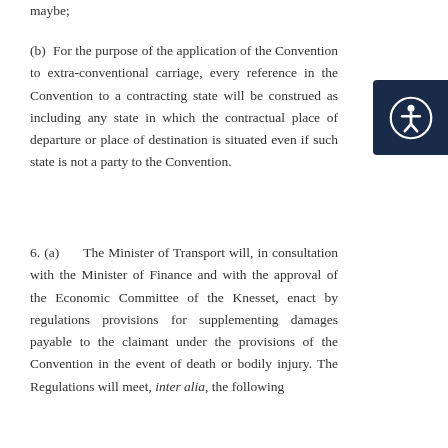maybe;
(b)  For the purpose of the application of the Convention to extra-conventional carriage, every reference in the Convention to a contracting state will be construed as including any state in which the contractual place of departure or place of destination is situated even if such state is not a party to the Convention.
6. (a)      The Minister of Transport will, in consultation with the Minister of Finance and with the approval of the Economic Committee of the Knesset, enact by regulations provisions for supplementing damages payable to the claimant under the provisions of the Convention in the event of death or bodily injury. The Regulations will meet, inter alia, the following conditions